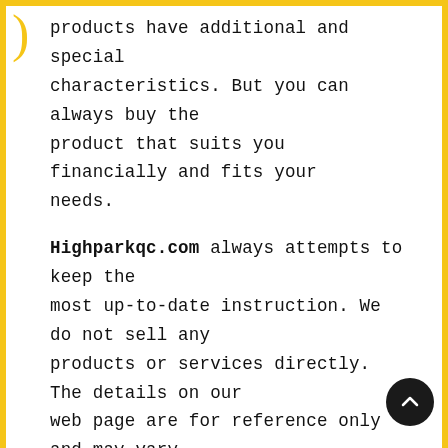products have additional and special characteristics. But you can always buy the product that suits you financially and fits your needs.
Highparkqc.com always attempts to keep the most up-to-date instruction. We do not sell any products or services directly. The details on our web page are for reference only and may vary from what you see when visiting the service supplier and the website of the actual product.
Highparkqc.com is a participant in the Amazon Services LLC Associates Program, an affiliate advertising program designed to provide a mea for us to earn fees (at no cost to you) by linking